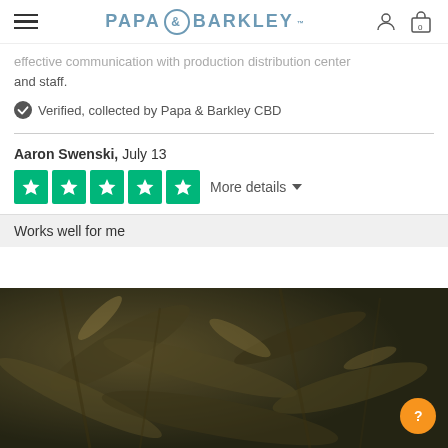PAPA & BARKLEY
effective communication with production distribution center and staff.
Verified, collected by Papa & Barkley CBD
Aaron Swenski, July 13
[Figure (other): 5-star Trustpilot rating with green star boxes, followed by More details dropdown]
Works well for me
[Figure (photo): Dark moody photo of dried cannabis/hemp plant material]